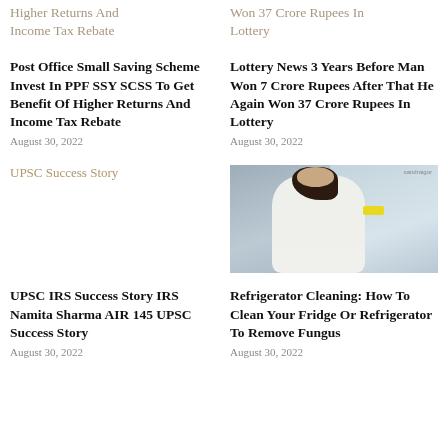Higher Returns And Income Tax Rebate
Won 37 Crore Rupees In Lottery
Post Office Small Saving Scheme Invest In PPF SSY SCSS To Get Benefit Of Higher Returns And Income Tax Rebate
August 30, 2022
Lottery News 3 Years Before Man Won 7 Crore Rupees After That He Again Won 37 Crore Rupees In Lottery
August 30, 2022
UPSC Success Story
[Figure (photo): Woman cleaning the inside of a refrigerator with a yellow sponge, wearing a white shirt, viewed from behind]
UPSC IRS Success Story IRS Namita Sharma AIR 145 UPSC Success Story
August 30, 2022
Refrigerator Cleaning: How To Clean Your Fridge Or Refrigerator To Remove Fungus
August 30, 2022